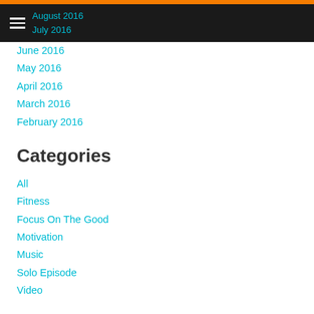August 2016 | July 2016
June 2016
May 2016
April 2016
March 2016
February 2016
Categories
All
Fitness
Focus On The Good
Motivation
Music
Solo Episode
Video